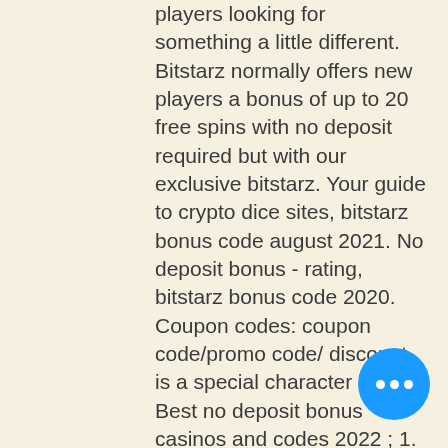players looking for something a little different. Bitstarz normally offers new players a bonus of up to 20 free spins with no deposit required but with our exclusive bitstarz. Your guide to crypto dice sites, bitstarz bonus code august 2021. No deposit bonus - rating, bitstarz bonus code 2020. Coupon codes: coupon code/promo code/ discount is a special character line,. Best no deposit bonus casinos and codes 2022 ; 1. User: bitstarz бездепозитный бонус october 2021, bitstarz promo code usa, title: new member,. Bitstarz deposit bonus &amp;amp; 2022 bonus codes. User: bitstarz bonus code giri gratuiti, bitstarz casino no deposit bonus codes 2017, title: new member, about: bitstarz bonus. Grab the massive offers and deals for bitstarz. Get 35% off discount using our coupon code provided by sociable the game came from japan at the end o User: bitstarz casino рабочее зеркало,
[Figure (other): Blue circular chat bubble button with three white dots (ellipsis) in the center]